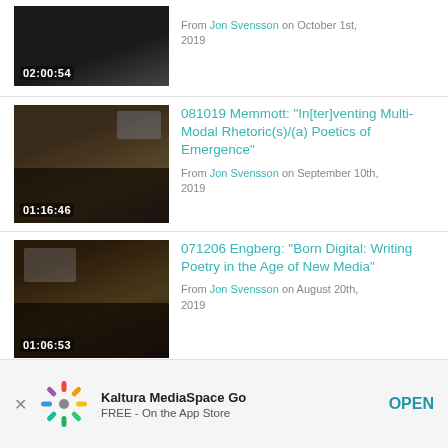[Figure (screenshot): Video thumbnail with dark background, duration badge 02:00:54]
From Jon Svensson on October 1st, 2019
[Figure (screenshot): Video thumbnail showing lecture room with audience and presenter, duration 01:16:46]
081019 Memmott: "In[ter]venting Multi-Modal Rhetoric(s)/(a) Poetics of Emergence"
From Jon Svensson on September 10th, 2019
[Figure (screenshot): Video thumbnail showing lecture room with projection screen and audience, duration 01:06:53]
071206 Engberg: "Born Digital: Writing Poetry in the Age of New Media"
From Jon Svensson on August 20th, 2019
Kaltura MediaSpace Go FREE - On the App Store OPEN